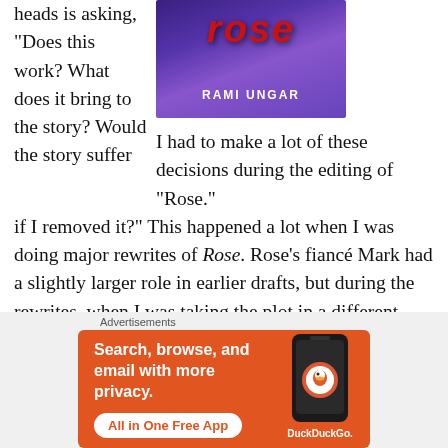heads is asking, “Does this work? What does it bring to the story? Would the story suffer if I removed it?”
[Figure (illustration): Book cover for 'Rose' by Rami Ungar. Purple/dark background with large red italic title text 'ROSE' and author name 'RAMI UNGAR' in white letters.]
I had to make a lot of these decisions during the editing of “Rose.”
if I removed it?” This happened a lot when I was doing major rewrites of Rose. Rose’s fiancé Mark had a slightly larger role in earlier drafts, but during the rewrites, when I was taking the plot in a different direction, I realized that Mark couldn’t fulfill that role anymore. He still had a part t…
Advertisements
[Figure (screenshot): DuckDuckGo advertisement banner. Orange background with text 'Search, browse, and email with more privacy. All in One Free App' and an image of a phone with the DuckDuckGo logo.]